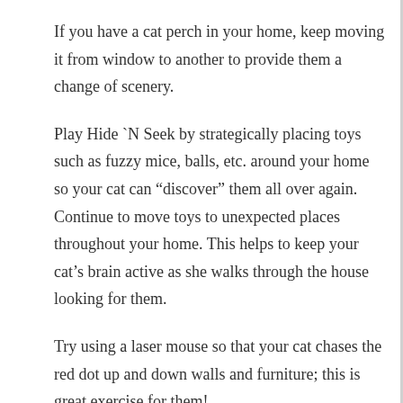If you have a cat perch in your home, keep moving it from window to another to provide them a change of scenery.
Play Hide `N Seek by strategically placing toys such as fuzzy mice, balls, etc. around your home so your cat can “discover” them all over again. Continue to move toys to unexpected places throughout your home. This helps to keep your cat’s brain active as she walks through the house looking for them.
Try using a laser mouse so that your cat chases the red dot up and down walls and furniture; this is great exercise for them!